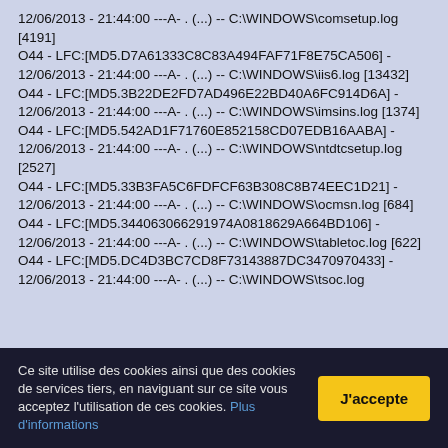12/06/2013 - 21:44:00 ---A- . (...) -- C:\WINDOWS\comsetup.log [4191] O44 - LFC:[MD5.D7A61333C8C83A494FAF71F8E75CA506] - 12/06/2013 - 21:44:00 ---A- . (...) -- C:\WINDOWS\iis6.log [13432] O44 - LFC:[MD5.3B22DE2FD7AD496E22BD40A6FC914D6A] - 12/06/2013 - 21:44:00 ---A- . (...) -- C:\WINDOWS\imsins.log [1374] O44 - LFC:[MD5.542AD1F71760E852158CD07EDB16AABA] - 12/06/2013 - 21:44:00 ---A- . (...) -- C:\WINDOWS\ntdtcsetup.log [2527] O44 - LFC:[MD5.33B3FA5C6FDFCF63B308C8B74EEC1D21] - 12/06/2013 - 21:44:00 ---A- . (...) -- C:\WINDOWS\ocmsn.log [684] O44 - LFC:[MD5.344063066291974A0818629A664BD106] - 12/06/2013 - 21:44:00 ---A- . (...) -- C:\WINDOWS\tabletoc.log [622] O44 - LFC:[MD5.DC4D3BC7CD8F73143887DC3470970433] - 12/06/2013 - 21:44:00 ---A- . (...) -- C:\WINDOWS\tsoc.log
Ce site utilise des cookies ainsi que des cookies de services tiers, en naviguant sur ce site vous acceptez l'utilisation de ces cookies. Plus d'informations